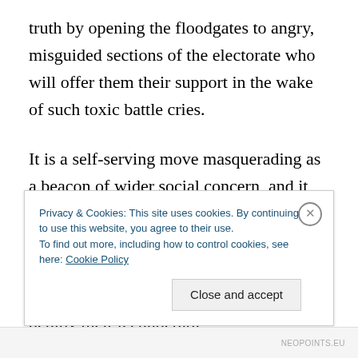truth by opening the floodgates to angry, misguided sections of the electorate who will offer them their support in the wake of such toxic battle cries.
It is a self-serving move masquerading as a beacon of wider social concern, and it precisely encapsulates the paradox of figures like Konrad Mizzi: well-oiled businessmen brought into the fold of an ascendant Labour Party and asked to deploy their technocratic
Privacy & Cookies: This site uses cookies. By continuing to use this website, you agree to their use.
To find out more, including how to control cookies, see here: Cookie Policy